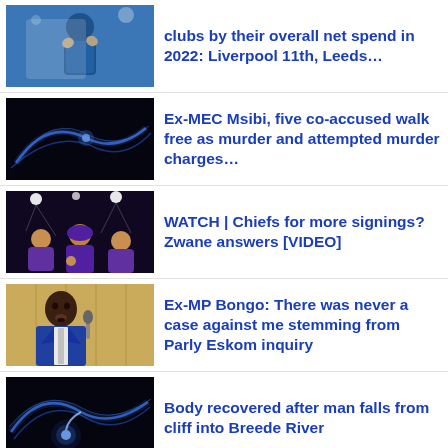[Figure (photo): Chelsea footballer in blue kit clapping]
clubs by their overall net spend in 2022: Liverpool 11th, Leeds...
[Figure (photo): Dark background with blue light streaks/cables]
Ex-MEC Msibi, five co-accused walk free as murder and attempted murder charges...
[Figure (photo): Kaizer Chiefs players in purple hoodies indoors with stadium lights]
WATCH | Chiefs for more signings? Zwane answers [VIDEO]
[Figure (photo): Man in blue suit sitting at table, speaking]
Ex-MP Bongo: There was never a case against me stemming from Parly Eskom inquiry
[Figure (photo): Dark background with blue light streaks]
Body recovered after man falls from cliff into Breede River